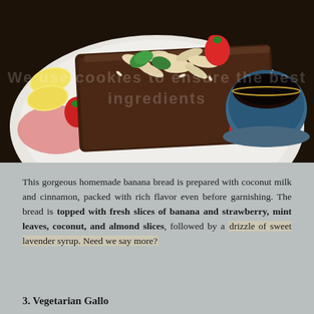[Figure (photo): Overhead close-up of a slice of homemade banana bread topped with sliced almonds, banana slices, strawberries, and mint leaves on a white plate, alongside a small blue ceramic cup of dark sauce/syrup.]
This gorgeous homemade banana bread is prepared with coconut milk and cinnamon, packed with rich flavor even before garnishing. The bread is topped with fresh slices of banana and strawberry, mint leaves, coconut, and almond slices, followed by a drizzle of sweet lavender syrup. Need we say more?
3. Vegetarian Gallo